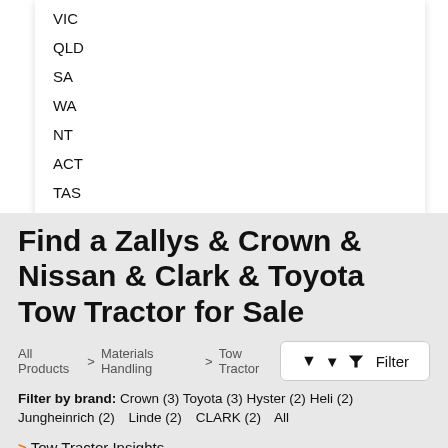VIC
QLD
SA
WA
NT
ACT
TAS
Find a Zallys & Crown & Nissan & Clark & Toyota Tow Tractor for Sale
All Products > Materials Handling > Tow Tractor
Filter by brand: Crown (3) Toyota (3) Hyster (2) Heli (2) Jungheinrich (2) Linde (2) CLARK (2) All
> Tow Tractor Insights